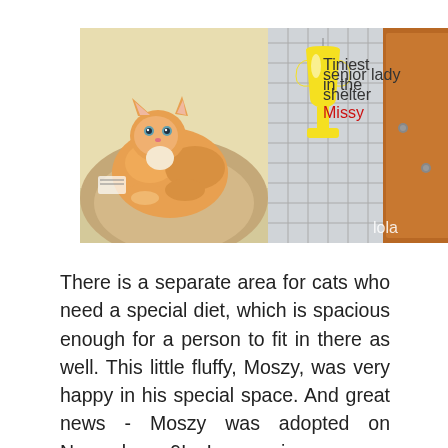[Figure (photo): Two photos side by side: left shows an orange and white cat resting on a blanket in a shelter enclosure; right shows a yellow trophy-shaped sign reading 'Tiniest senior lady in the shelter' with 'Missy' written in red, hanging on a metal cage door next to a wooden cabinet, with 'lola' watermark.]
There is a separate area for cats who need a special diet, which is spacious enough for a person to fit in there as well. This little fluffy, Moszy, was very happy in his special space. And great news - Moszy was adopted on November 9! In previous years, Moszy was adopted three times and